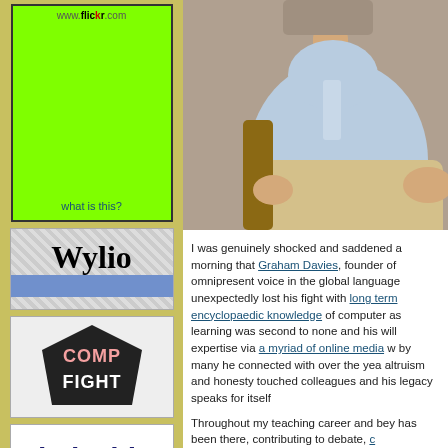[Figure (other): Flickr advertisement box with green background, URL www.flickr.com at top and 'what is this?' text at bottom]
[Figure (logo): Wylio logo with bold serif text on striped background and blue bar]
[Figure (logo): CompFight logo with dark pentagon shape containing COMP in pink and FIGHT in white text]
[Figure (logo): Behold logo with lowercase text and eye icon replacing the letter o]
[Figure (photo): Photo of a man in a light blue shirt seated in a wooden chair, lower portion of face and body visible]
I was genuinely shocked and saddened a morning that Graham Davies, founder of omnipresent voice in the global language unexpectedly lost his fight with long term encyclopaedic knowledge of computer as learning was second to none and his will expertise via a myriad of online media w by many he connected with over the yea altruism and honesty touched colleagues and his legacy speaks for itself

Throughout my teaching career and bey has been there, contributing to debate, c